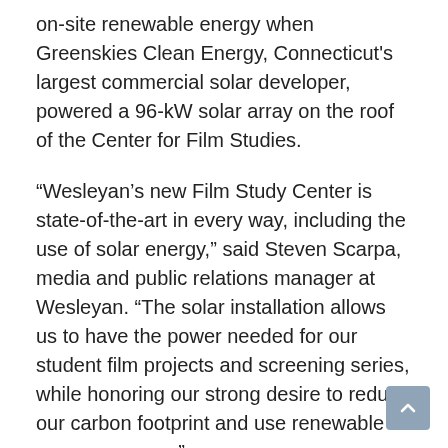on-site renewable energy when Greenskies Clean Energy, Connecticut's largest commercial solar developer, powered a 96-kW solar array on the roof of the Center for Film Studies.
“Wesleyan’s new Film Study Center is state-of-the-art in every way, including the use of solar energy,” said Steven Scarpa, media and public relations manager at Wesleyan. “The solar installation allows us to have the power needed for our student film projects and screening series, while honoring our strong desire to reduce our carbon footprint and use renewable energy sources.”
“Greenskies is excited to strengthen our long-standing relationship with Wesleyan University by installing additional renewable energy on campus,”